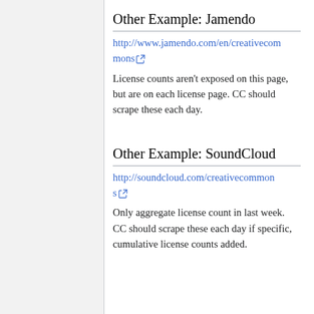Other Example: Jamendo
http://www.jamendo.com/en/creativecommons
License counts aren't exposed on this page, but are on each license page. CC should scrape these each day.
Other Example: SoundCloud
http://soundcloud.com/creativecommons
Only aggregate license count in last week. CC should scrape these each day if specific, cumulative license counts added.